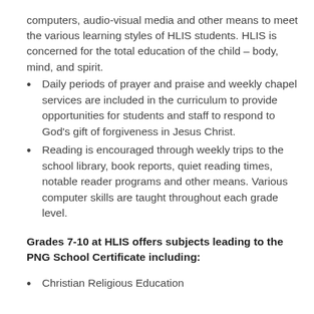computers, audio-visual media and other means to meet the various learning styles of HLIS students. HLIS is concerned for the total education of the child – body, mind, and spirit.
Daily periods of prayer and praise and weekly chapel services are included in the curriculum to provide opportunities for students and staff to respond to God's gift of forgiveness in Jesus Christ.
Reading is encouraged through weekly trips to the school library, book reports, quiet reading times, notable reader programs and other means. Various computer skills are taught throughout each grade level.
Grades 7-10 at HLIS offers subjects leading to the PNG School Certificate including:
Christian Religious Education